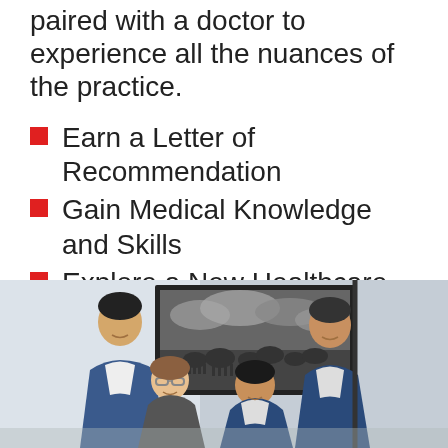paired with a doctor to experience all the nuances of the practice.
Earn a Letter of Recommendation
Gain Medical Knowledge and Skills
Explore a New Healthcare System and Culture
[Figure (photo): Four people (two men standing in back, one woman and one man sitting/crouching in front) smiling in an office setting with a black and white elephant landscape photograph on the wall behind them. They are wearing business casual attire including blue blazers.]